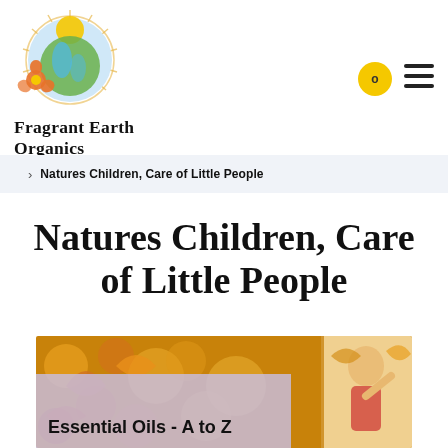[Figure (logo): Fragrant Earth Organics logo: circular emblem with sun, globe, and flower, above the brand name text]
Natures Children, Care of Little People
[Figure (photo): Autumn scene with orange and yellow leaves, child playing outdoors]
Essential Oils - A to Z